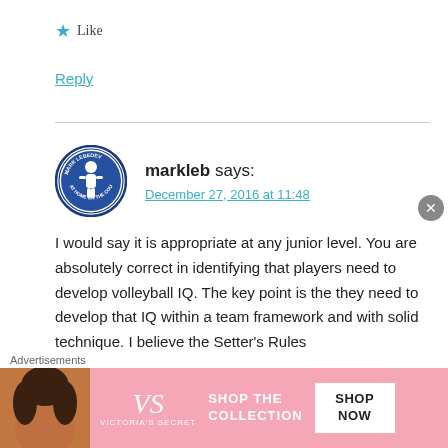★ Like
Reply
markleb says:
December 27, 2016 at 11:48
I would say it is appropriate at any junior level. You are absolutely correct in identifying that players need to develop volleyball IQ. The key point is the they need to develop that IQ within a team framework and with solid technique. I believe the Setter's Rules
Advertisements
[Figure (other): Victoria's Secret advertisement banner with pink background, model photo, VS logo, SHOP THE COLLECTION text, and SHOP NOW button]